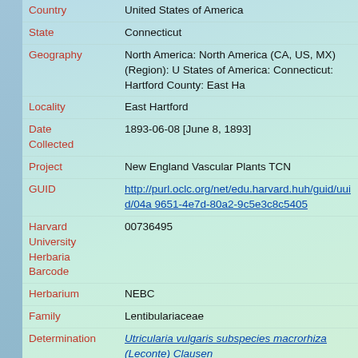| Field | Value |
| --- | --- |
| Country | United States of America |
| State | Connecticut |
| Geography | North America: North America (CA, US, MX) (Region): United States of America: Connecticut: Hartford County: East Ha... |
| Locality | East Hartford |
| Date Collected | 1893-06-08 [June 8, 1893] |
| Project | New England Vascular Plants TCN |
| GUID | http://purl.oclc.org/net/edu.harvard.huh/guid/uuid/04a...9651-4e7d-80a2-9c5e3c8c5405 |
| Harvard University Herbaria Barcode | 00736495 |
| Herbarium | NEBC |
| Family | Lentibulariaceae |
| Determination | Utricularia vulgaris subspecies macrorhiza (Leconte) Clausen |
| Determination Remarks | [is filed under name] [is Current name] |
| Preparation Type | Sheet |
| Preparation | Pressed |